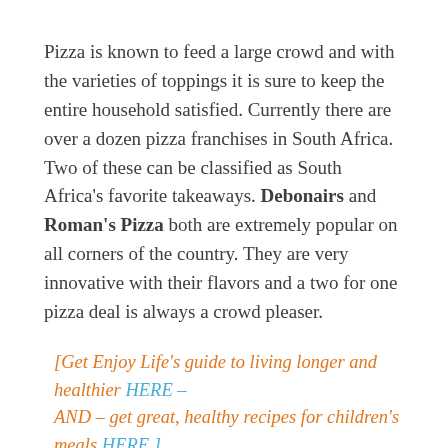Pizza is known to feed a large crowd and with the varieties of toppings it is sure to keep the entire household satisfied. Currently there are over a dozen pizza franchises in South Africa. Two of these can be classified as South Africa's favorite takeaways. Debonairs and Roman's Pizza both are extremely popular on all corners of the country. They are very innovative with their flavors and a two for one pizza deal is always a crowd pleaser.
[Get Enjoy Life's guide to living longer and healthier HERE – AND – get great, healthy recipes for children's meals HERE.]
Now there is one burger house that is uniquely South African with a flavor that can't be duplicated or beaten and that is why so many South Africans choose Steers. The flame grilled patty and their hand sliced potato chips